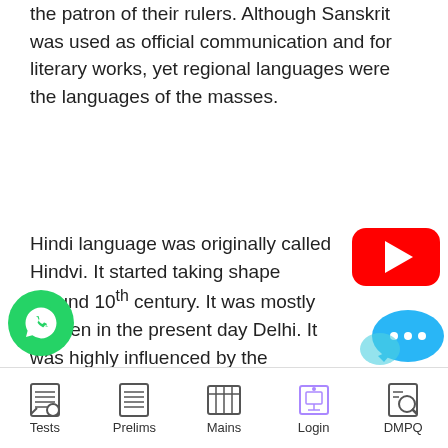the patron of their rulers. Although Sanskrit was used as official communication and for literary works, yet regional languages were the languages of the masses.
Hindi language was originally called Hindvi. It started taking shape around 10th century. It was mostly spoken in the present day Delhi. It was highly influenced by the Shaurseni Aprabhansha.
o vocabulary is derived mostly from the
[Figure (logo): YouTube play button logo (red rounded rectangle with white triangle)]
[Figure (logo): WhatsApp green circle logo with white phone icon]
[Figure (logo): Blue chat bubble with three dots]
Tests   Prelims   Mains   Login   DMPQ